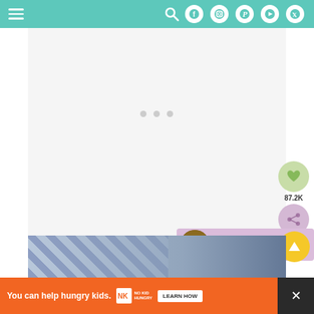Navigation header with hamburger menu and social media icons (search, Facebook, Instagram, Pinterest, YouTube, Twitter)
[Figure (screenshot): Loading placeholder area with three grey dots indicating content loading]
[Figure (infographic): Heart/save button with green background showing 87.2K count, and share button with pink/purple background]
87.2K
[Figure (screenshot): Related recipe card showing Air Fryer Garlic Ranc... with thumbnail image of roasted nuts/chickpeas]
Air Fryer Garlic Ranc...
[Figure (photo): Partial photo strip at bottom showing blue and white checkered fabric/cloth on a surface]
[Figure (infographic): Yellow circular scroll-to-top button with upward arrow]
You can help hungry kids. NOKID HUNGRY LEARN HOW